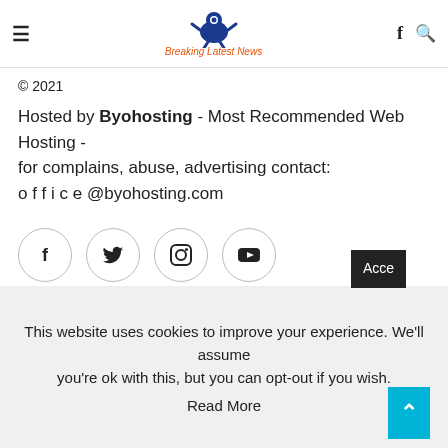Breaking Latest News
© 2021
Hosted by Byohosting - Most Recommended Web Hosting - for complains, abuse, advertising contact: o f f i c e @byohosting.com
[Figure (other): Social media icon buttons: Facebook, Twitter, Instagram, YouTube — each in a circle outline]
This website uses cookies to improve your experience. We'll assume you're ok with this, but you can opt-out if you wish.
Read More